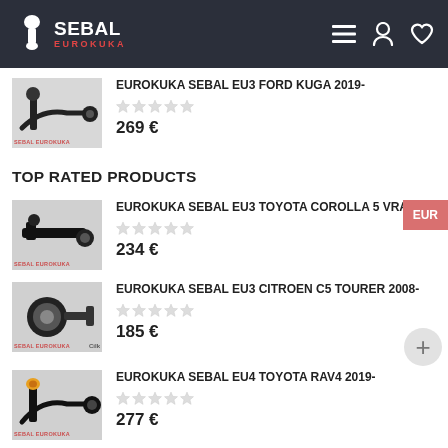SEBAL EUROKUKA
EUROKUKA SEBAL EU3 FORD KUGA 2019-
269 €
TOP RATED PRODUCTS
EUROKUKA SEBAL EU3 TOYOTA COROLLA 5 VRAT...
234 €
EUROKUKA SEBAL EU3 CITROEN C5 TOURER 2008-
185 €
EUROKUKA SEBAL EU4 TOYOTA RAV4 2019-
277 €